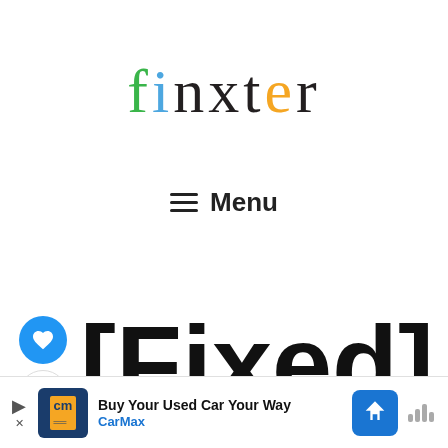[Figure (logo): Finxter logo with colorful letters: f (green), i (blue), n (black), x (black), t (black), e (orange), r (black)]
≡ Menu
[Figure (infographic): Social sidebar with blue heart button (like), count badge showing 1, and share button]
[Fixed] ModuleNot
[Figure (other): Advertisement banner: CarMax - Buy Your Used Car Your Way]